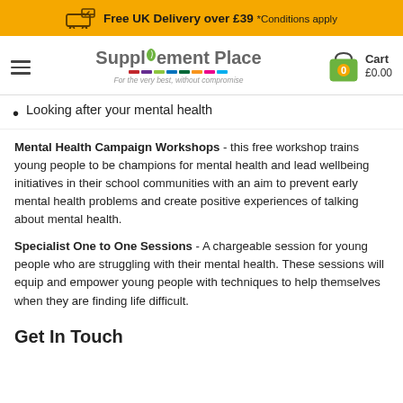Free UK Delivery over £39 *Conditions apply
[Figure (logo): Supplement Place logo with tagline 'For the very best, without compromise' and coloured bar]
Looking after your mental health
Mental Health Campaign Workshops - this free workshop trains young people to be champions for mental health and lead wellbeing initiatives in their school communities with an aim to prevent early mental health problems and create positive experiences of talking about mental health.
Specialist One to One Sessions - A chargeable session for young people who are struggling with their mental health. These sessions will equip and empower young people with techniques to help themselves when they are finding life difficult.
Get In Touch